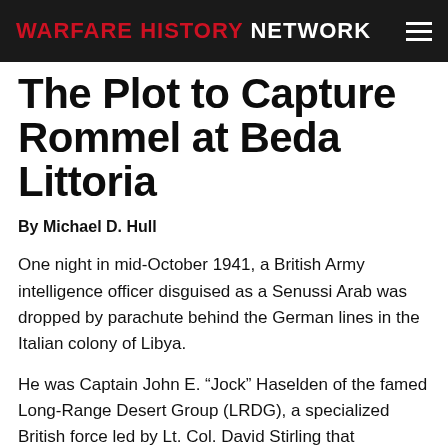WARFARE HISTORY NETWORK
The Plot to Capture Rommel at Beda Littoria
By Michael D. Hull
One night in mid-October 1941, a British Army intelligence officer disguised as a Senussi Arab was dropped by parachute behind the German lines in the Italian colony of Libya.
He was Captain John E. “Jock” Haselden of the famed Long-Range Desert Group (LRDG), a specialized British force led by Lt. Col. David Stirling that conducted reconnaissance patrols and hit-and-run raids against enemy installations in North Africa. Bearded and weather beaten, Haselden wore tattered Arab robes and carried a